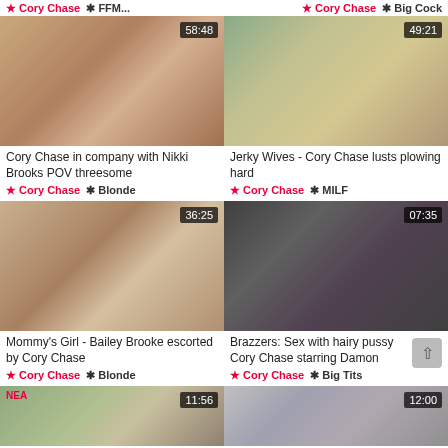★ Cory Chase  ✱ FFFI...    ★ Cory Chase  ✱ Big Cock
[Figure (photo): Thumbnail of adult video, duration 58:48]
Cory Chase in company with Nikki Brooks POV threesome
★ Cory Chase  ✱ Blonde
[Figure (photo): Thumbnail of adult video, duration 49:21]
Jerky Wives - Cory Chase lusts plowing hard
★ Cory Chase  ✱ MILF
[Figure (photo): Thumbnail of adult video, duration 36:25]
Mommy's Girl - Bailey Brooke escorted by Cory Chase
★ Cory Chase  ✱ Blonde
[Figure (photo): Thumbnail of adult video, duration 07:35]
Brazzers: Sex with hairy pussy Cory Chase starring Damon
★ Cory Chase  ✱ Big Tits
[Figure (photo): Thumbnail of adult video, duration 11:56]
[Figure (photo): Thumbnail of adult video, duration 12:00]